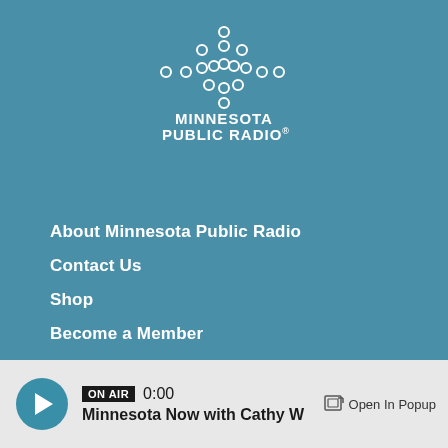[Figure (logo): Minnesota Public Radio logo with dot pattern above text]
About Minnesota Public Radio
Contact Us
Shop
Become a Member
Volunteer
Fundraising Credentials
Terms of use
Your privacy rights
Station outage information
ON AIR  0:00  Minnesota Now with Cathy W  Open In Popup